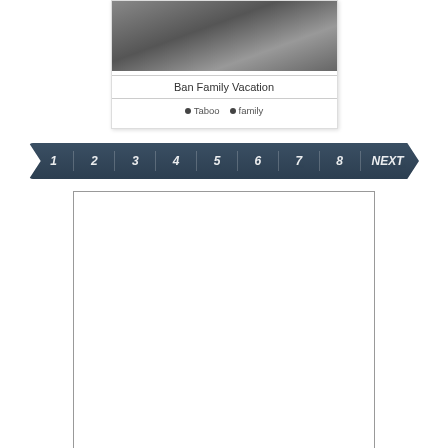[Figure (photo): Thumbnail image for 'Ban Family Vacation' showing people]
Ban Family Vacation
Taboo
family
[Figure (infographic): Pagination bar with page numbers 1 through 8 and NEXT button]
[Figure (other): Advertisement or content box (blank white rectangle with border)]
[Figure (other): Second advertisement or content box (partial, blank white rectangle with border)]